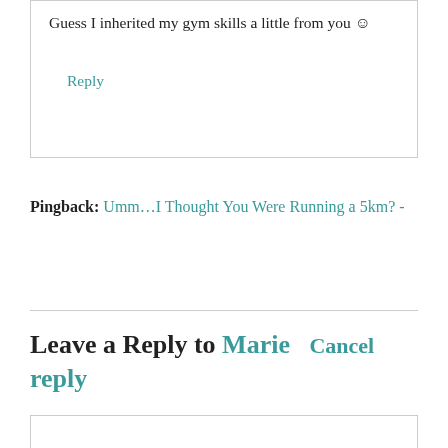Guess I inherited my gym skills a little from you ☺
Reply
Pingback: Umm...I Thought You Were Running a 5km? -
Leave a Reply to Marie   Cancel reply